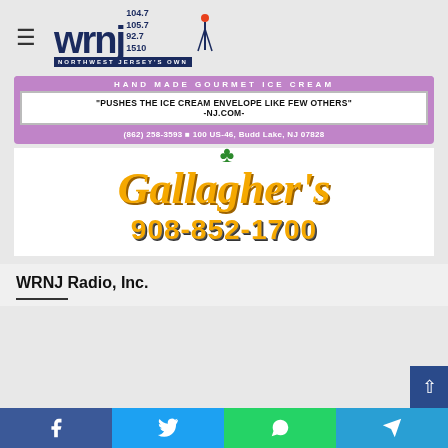[Figure (logo): WRNJ Radio logo with frequencies 104.7, 105.7, 92.7, 1510 and tagline NORTHWEST JERSEY'S OWN]
[Figure (illustration): Hand Made Gourmet Ice Cream advertisement banner on purple background with quote 'PUSHES THE ICE CREAM ENVELOPE LIKE FEW OTHERS' -NJ.COM- and contact info (862) 258-3593, 100 US-46, Budd Lake, NJ 07828]
[Figure (illustration): Gallagher's logo with shamrock, stylized gold italic text 'Gallagher's' and phone number 908-852-1700]
WRNJ Radio, Inc.